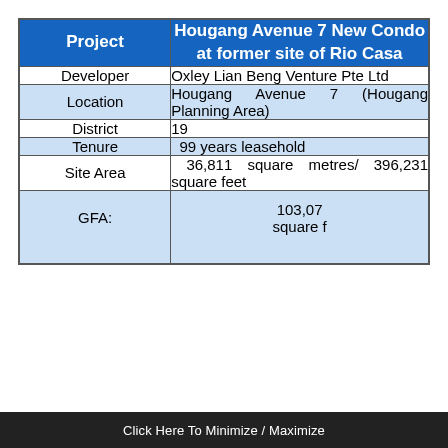| Project | Hougang Avenue 7 New Condo at former site of Rio Casa |
| --- | --- |
| Developer | Oxley Lian Beng Venture Pte Ltd |
| Location | Hougang Avenue 7 (Hougang Planning Area) |
| District | 19 |
| Tenure | 99 years leasehold |
| Site Area | 36,811 square metres/ 396,231 square feet |
| GFA: | 103,07... square f... |
Click Here To Minimize / Maximize